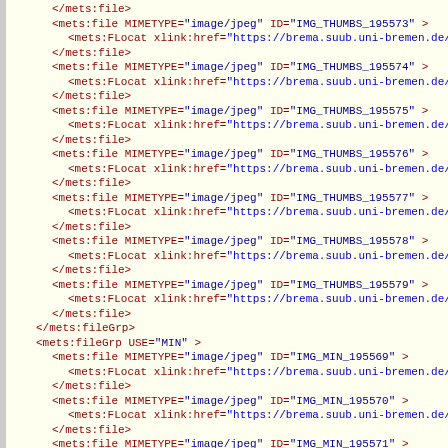XML/METS file listing showing mets:file elements with MIMETYPE image/jpeg for IMG_THUMBS and IMG_MIN series, with mets:FLocat xlink:href attributes pointing to https://brema.suub.uni-bremen.de/grenzboten/download